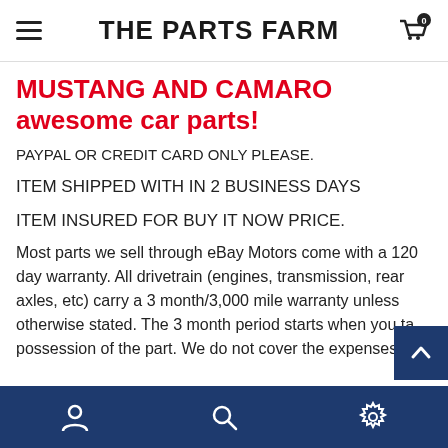THE PARTS FARM
MUSTANG AND CAMARO awesome car parts!
PAYPAL OR CREDIT CARD ONLY PLEASE.
ITEM SHIPPED WITH IN 2 BUSINESS DAYS
ITEM INSURED FOR BUY IT NOW PRICE.
Most parts we sell through eBay Motors come with a 120 day warranty. All drivetrain (engines, transmission, rear axles, etc) carry a 3 month/3,000 mile warranty unless otherwise stated. The 3 month period starts when you take possession of the part. We do not cover the expenses of
Navigation icons: user, search, settings